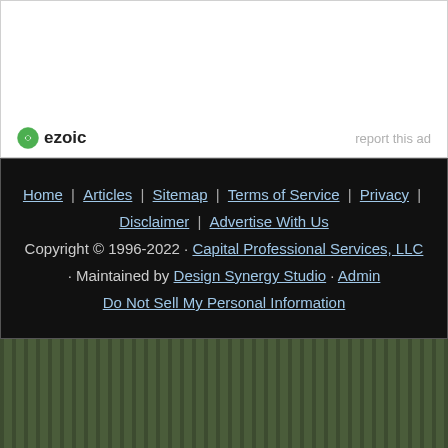[Figure (logo): Ezoic logo with green circular icon and bold text 'ezoic']
report this ad
Home | Articles | Sitemap | Terms of Service | Privacy | Disclaimer | Advertise With Us
Copyright © 1996-2022 · Capital Professional Services, LLC · Maintained by Design Synergy Studio · Admin
Do Not Sell My Personal Information
[Figure (infographic): Dark olive/green vertically striped background panel]
Search for
1. CRUDE OIL PRICE HISTORY
2. TOP 10 INFLATION-PROOF STOCKS